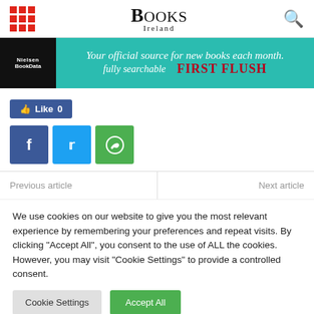Books Ireland
[Figure (infographic): Books Ireland website banner with Nielsen BookData ad: 'Your official source for new books each month. fully searchable FIRST FLUSH']
Like 0
[Figure (infographic): Social share buttons: Facebook, Twitter, WhatsApp]
Previous article
Next article
We use cookies on our website to give you the most relevant experience by remembering your preferences and repeat visits. By clicking "Accept All", you consent to the use of ALL the cookies. However, you may visit "Cookie Settings" to provide a controlled consent.
Cookie Settings   Accept All